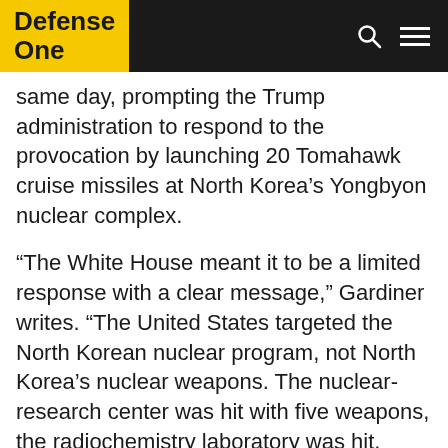Defense One
same day, prompting the Trump administration to respond to the provocation by launching 20 Tomahawk cruise missiles at North Korea’s Yongbyon nuclear complex.
“The White House meant it to be a limited response with a clear message,” Gardiner writes. “The United States targeted the North Korean nuclear program, not North Korea’s nuclear weapons. The nuclear-research center was hit with five weapons, the radiochemistry laboratory was hit, Building 500 close to that laboratory was hit, and the fuel fabrication facility was hit. The targeting was done carefully to avoid the nuclear-research reactor, the experimental reactor, as well as the nuclear power plant.”
Gardiner envisions panic in Seoul as civilians are